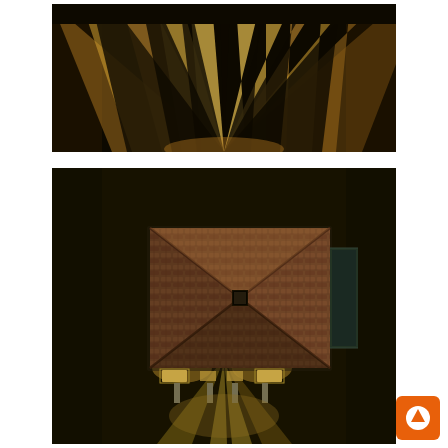[Figure (photo): Aerial/overhead dark photo showing multiple diagonal beams of warm yellow light radiating outward on a dark floor, forming an M or fan-like pattern viewed from above.]
[Figure (photo): Aerial/overhead dark photo showing the rooftop of a building with a hip roof covered in terracotta or brown tiles, viewed from directly above. The roof has an X-pattern of ridges meeting at a small square skylight in the center. Below the roof edge, illuminated windows/openings are visible, and warm light beams radiate outward on a dark floor below.]